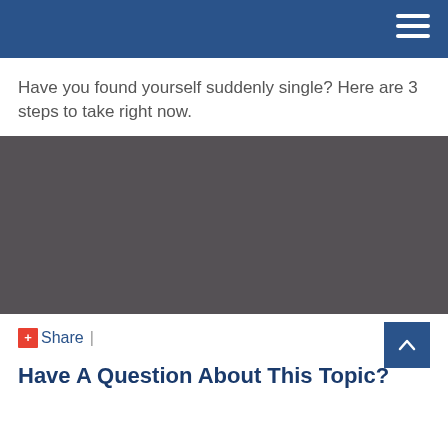Have you found yourself suddenly single? Here are 3 steps to take right now.
[Figure (other): Dark gray rectangular block, likely a video or image placeholder]
+ Share |
Have A Question About This Topic?